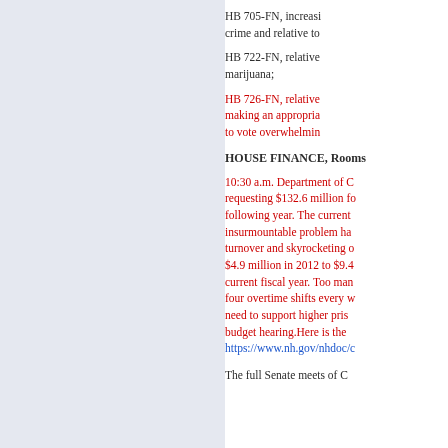HB 705-FN, increasing penalties for certain crime and relative to
HB 722-FN, relative to marijuana;
HB 726-FN, relative to making an appropriation to vote overwhelmingly
HOUSE FINANCE, Rooms
10:30 a.m. Department of C requesting $132.6 million for following year. The current insurmountable problem has turnover and skyrocketing o $4.9 million in 2012 to $9.4 current fiscal year. Too man four overtime shifts every w need to support higher pris budget hearing. Here is the https://www.nh.gov/nhdoc/c
The full Senate meets of C